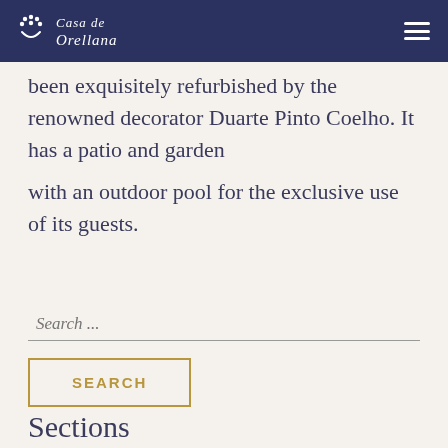Casa de Orellana
been exquisitely refurbished by the renowned decorator Duarte Pinto Coelho. It has a patio and garden with an outdoor pool for the exclusive use of its guests.
Search ...
SEARCH
Sections